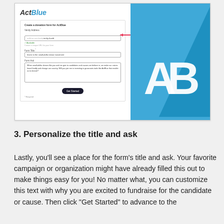[Figure (screenshot): Screenshot of ActBlue donation form creation page showing fields for Vanity Address, Form Title, and Form Ask, with a red arrow pointing to the URL slug field 'emily-4-add', an Available checkmark, a Get Started button, and the ActBlue AB logo on a blue background panel on the right.]
3. Personalize the title and ask
Lastly, you'll see a place for the form's title and ask. Your favorite campaign or organization might have already filled this out to make things easy for you! No matter what, you can customize this text with why you are excited to fundraise for the candidate or cause. Then click "Get Started" to advance to the